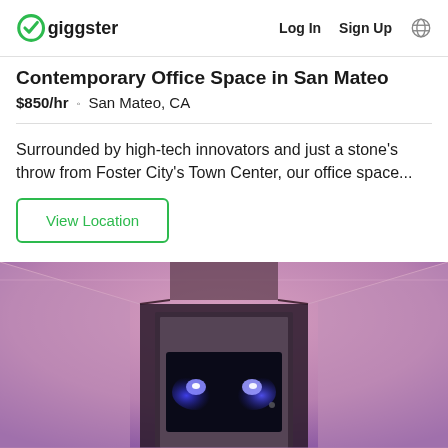Giggster | Log In | Sign Up
Contemporary Office Space in San Mateo
$850/hr · San Mateo, CA
Surrounded by high-tech innovators and just a stone's throw from Foster City's Town Center, our office space...
View Location
[Figure (photo): Interior photo of an office/event space with pink/purple ambient lighting on the walls and a dark screen or display at the far end showing blue lights, with a corridor-like perspective]